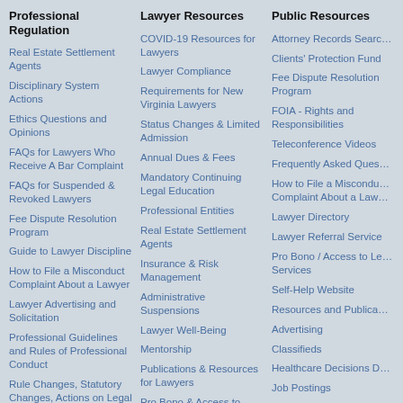Professional Regulation
Real Estate Settlement Agents
Disciplinary System Actions
Ethics Questions and Opinions
FAQs for Lawyers Who Receive A Bar Complaint
FAQs for Suspended & Revoked Lawyers
Fee Dispute Resolution Program
Guide to Lawyer Discipline
How to File a Misconduct Complaint About a Lawyer
Lawyer Advertising and Solicitation
Professional Guidelines and Rules of Professional Conduct
Rule Changes, Statutory Changes, Actions on Legal Ethics Opinions, and Comments on Proposed Changes
Public Disciplinary Hearings
Unauthorized Practice of Law
Lawyer Resources
COVID-19 Resources for Lawyers
Lawyer Compliance
Requirements for New Virginia Lawyers
Status Changes & Limited Admission
Annual Dues & Fees
Mandatory Continuing Legal Education
Professional Entities
Real Estate Settlement Agents
Insurance & Risk Management
Administrative Suspensions
Lawyer Well-Being
Mentorship
Publications & Resources for Lawyers
Pro Bono & Access to Legal Services
Transition Into Emeritus Status
Trust Accounts & IOLTA
Virginia Lawyer Referral
Public Resources
Attorney Records Search
Clients' Protection Fund
Fee Dispute Resolution Program
FOIA - Rights and Responsibilities
Teleconference Videos
Frequently Asked Questions
How to File a Misconduct Complaint About a Lawyer
Lawyer Directory
Lawyer Referral Service
Pro Bono / Access to Legal Services
Self-Help Website
Resources and Publications
Advertising
Classifieds
Healthcare Decisions Day
Job Postings